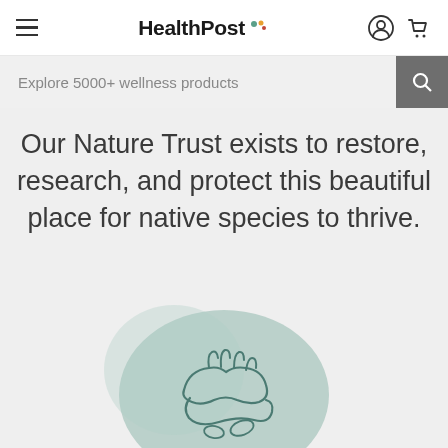HealthPost
Explore 5000+ wellness products
Our Nature Trust exists to restore, research, and protect this beautiful place for native species to thrive.
[Figure (illustration): Illustration of two hands holding/cradling, on a teal/sage green organic blob background shape, partially visible at bottom of page.]